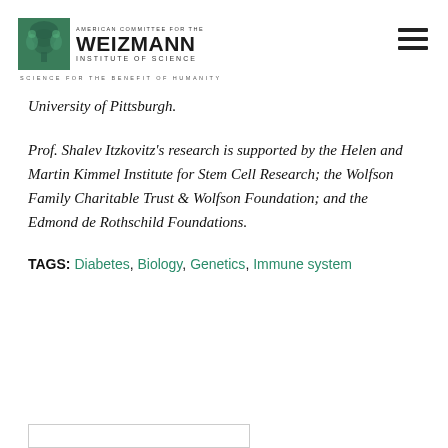[Figure (logo): American Committee for the Weizmann Institute of Science logo with emblem and tagline 'Science for the Benefit of Humanity']
University of Pittsburgh.
Prof. Shalev Itzkovitz's research is supported by the Helen and Martin Kimmel Institute for Stem Cell Research; the Wolfson Family Charitable Trust & Wolfson Foundation; and the Edmond de Rothschild Foundations.
TAGS: Diabetes, Biology, Genetics, Immune system